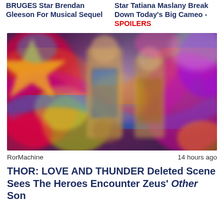BRUGES Star Brendan Gleeson For Musical Sequel
Star Tatiana Maslany Break Down Today's Big Cameo - SPOILERS
[Figure (photo): Colorful promotional still from Thor: Love and Thunder showing armored heroes against a vibrant psychedelic background]
RorMachine	14 hours ago
THOR: LOVE AND THUNDER Deleted Scene Sees The Heroes Encounter Zeus' Other Son